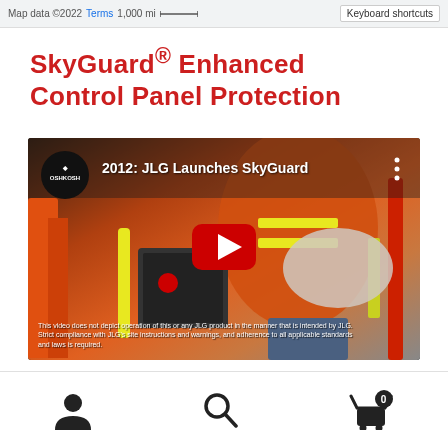Map data ©2022  Terms  1,000 mi  Keyboard shortcuts
SkyGuard® Enhanced Control Panel Protection
[Figure (screenshot): YouTube video thumbnail showing a JLG SkyGuard demonstration. Oshkosh logo circle at top-left. Title reads '2012: JLG Launches SkyGuard'. Red YouTube play button in center. Background shows a worker in orange hi-vis vest operating aerial lift equipment. Subtitle text at bottom: 'This video does not depict operation of this or any JLG product in the manner that is intended by JLG. Strict compliance with JLG's site instructions and warnings, and adherence to all applicable standards and laws is required']
navigation icons: user account, search, cart (0)